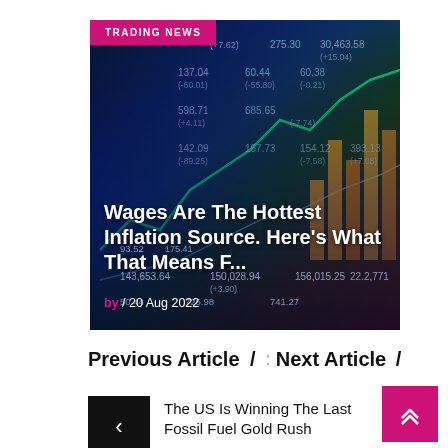[Figure (photo): Financial stock market ticker screen with trading numbers and bar chart overlay, showing various stock prices and percentage changes]
TRADING NEWS
Wages Are The Hottest Inflation Source. Here's What That Means F...
by / 20 Aug 2022
Previous Article / ⠿ Next Article /
The US Is Winning The Last Fossil Fuel Gold Rush